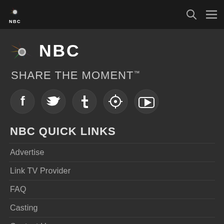NBC navigation bar with logo, search, and menu icons
[Figure (logo): NBC peacock logo large with colorful feathers and NBC wordmark in white]
SHARE THE MOMENT™
[Figure (infographic): Social media icons row: Facebook, Twitter, Tumblr, Pinterest, YouTube — white icons on dark circles]
NBC QUICK LINKS
Advertise
Link TV Provider
FAQ
Casting
Contact Us